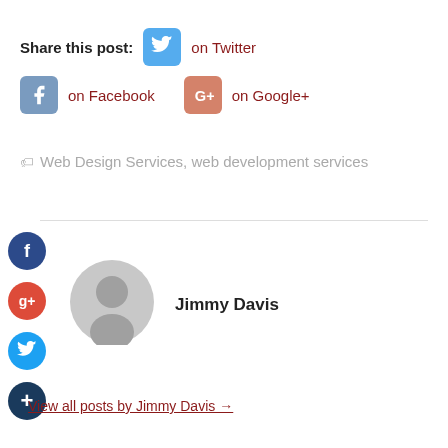Share this post:  on Twitter  on Facebook  on Google+
Web Design Services, web development services
Jimmy Davis
View all posts by Jimmy Davis →